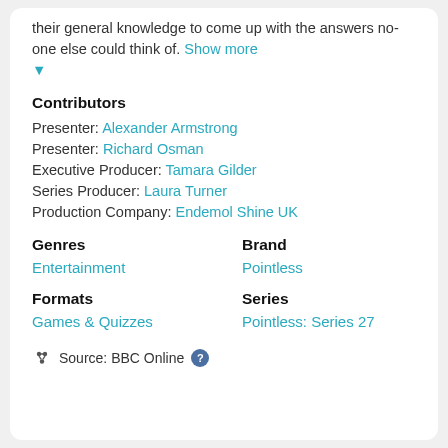their general knowledge to come up with the answers no-one else could think of. Show more ▼
Contributors
Presenter: Alexander Armstrong
Presenter: Richard Osman
Executive Producer: Tamara Gilder
Series Producer: Laura Turner
Production Company: Endemol Shine UK
Genres
Entertainment
Brand
Pointless
Formats
Games & Quizzes
Series
Pointless: Series 27
Source: BBC Online